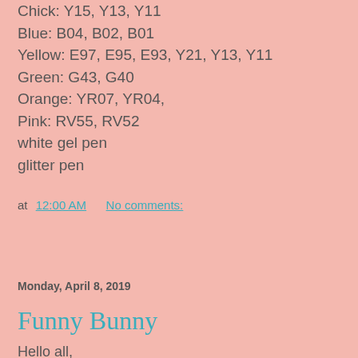Chick: Y15, Y13, Y11
Blue: B04, B02, B01
Yellow: E97, E95, E93, Y21, Y13, Y11
Green: G43, G40
Orange: YR07, YR04,
Pink: RV55, RV52
white gel pen
glitter pen
at 12:00 AM   No comments:
Share
Monday, April 8, 2019
Funny Bunny
Hello all,